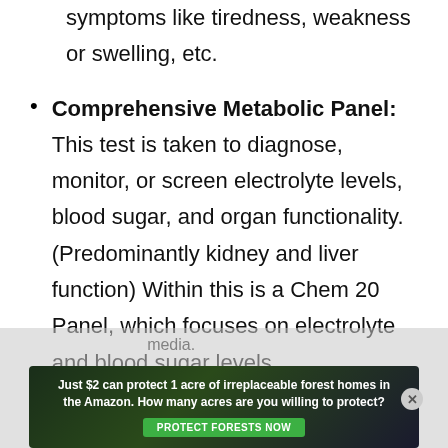symptoms like tiredness, weakness or swelling, etc.
Comprehensive Metabolic Panel: This test is taken to diagnose, monitor, or screen electrolyte levels, blood sugar, and organ functionality. (Predominantly kidney and liver function) Within this is a Chem 20 Panel, which focuses on electrolyte and blood sugar levels.
Ultrasound: Usually, ultrasonography is done to monitor the baby's development. It may be used
[Figure (other): Advertisement banner: 'Just $2 can protect 1 acre of irreplaceable forest homes in the Amazon. How many acres are you willing to protect?' with a green 'PROTECT FORESTS NOW' button, overlaid on a dark forest background image.]